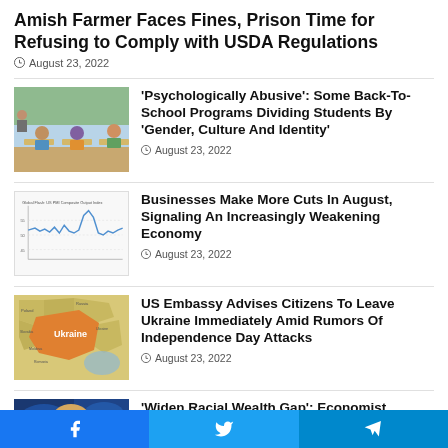Amish Farmer Faces Fines, Prison Time for Refusing to Comply with USDA Regulations
August 23, 2022
[Figure (photo): Students in a classroom viewed from behind, sitting at desks facing a chalkboard]
‘Psychologically Abusive’: Some Back-To-School Programs Dividing Students By ‘Gender, Culture And Identity’
August 23, 2022
[Figure (line-chart): Global Flash US PMI Composite Output Index chart showing economic data with a sharp dip]
Businesses Make More Cuts In August, Signaling An Increasingly Weakening Economy
August 23, 2022
[Figure (map): Map highlighting Ukraine in orange among surrounding countries]
US Embassy Advises Citizens To Leave Ukraine Immediately Amid Rumors Of Independence Day Attacks
August 23, 2022
[Figure (photo): News anchor or reporter with blonde hair against a blue studio background]
‘Widen Racial Wealth Gap’: Economist Breaks Down Effects of Biden’s Student